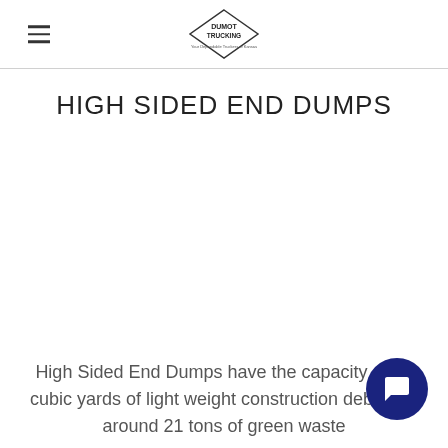Dumot Trucking logo and navigation
HIGH SIDED END DUMPS
High Sided End Dumps have the capacity of 35 cubic yards of light weight construction debris, or around 21 tons of green waste